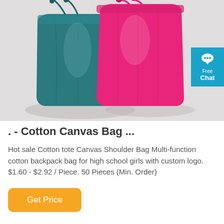[Figure (photo): Two drawstring cotton canvas bags on a light gray background — one teal/dark green on the left and one hot pink on the right. Both bags have matching colored drawstring cords tied at the top.]
. - Cotton Canvas Bag ...
Hot sale Cotton tote Canvas Shoulder Bag Multi-function cotton backpack bag for high school girls with custom logo. $1.60 - $2.92 / Piece. 50 Pieces (Min. Order)
Get Price